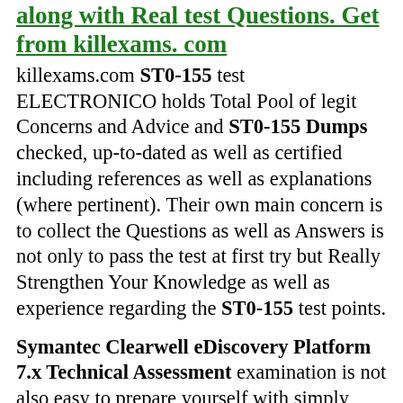along with Real test Questions. Get from killexams. com
killexams.com ST0-155 test ELECTRONICO holds Total Pool of legit Concerns and Advice and ST0-155 Dumps checked, up-to-dated as well as certified including references as well as explanations (where pertinent). Their own main concern is to collect the Questions as well as Answers is not only to pass the test at first try but Really Strengthen Your Knowledge as well as experience regarding the ST0-155 test points.
Symantec Clearwell eDiscovery Platform 7.x Technical Assessment
examination is not also easy to prepare yourself with simply ST0-155 test dumps of few days.